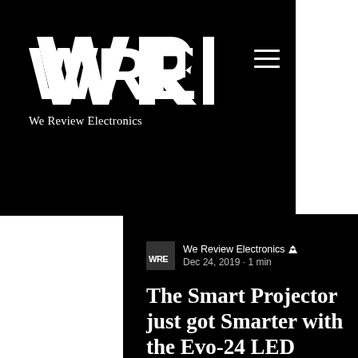[Figure (logo): WRE - We Review Electronics logo, white on black background with stylized W, R, E letters and triangular arrows]
We Review Electronics 👑
Dec 24, 2019 · 1 min
The Smart Projector just got Smarter with the Evo-24 LED Smart Projector